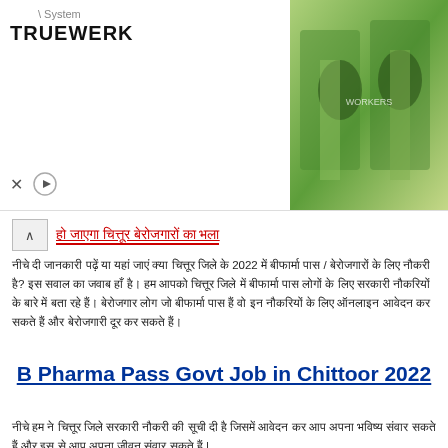[Figure (photo): Advertisement banner with TRUEWERK logo on left and photo of two workers in green high-visibility shirts on right. System label text and ad controls visible.]
हिंदी में लिंक टेक्स्ट (Hindi linked heading text in red with underline)
नीचे दी जानकारी पढ़ें या यहां जाएं क्या चित्तूर जिले के 2022 में बीफार्मा पास लोगों / बेरोजगारों के लिए नौकरी है? इस सवाल का जवाब हाँ है। हम आपको चित्तूर जिले में बीफार्मा पास लोगों के लिए सरकारी नौकरियों के बारे में बता रहे हैं जो बेरोजगार लोग जो बीफार्मा पास हैं वो इन नौकरियों के लिए ऑनलाइन आवेदन कर सकते हैं और बेरोजगारी भत्ता को दूर कर सकते हैं वो आगे गए।
B Pharma Pass Govt Job in Chittoor 2022
नीचे हम ने चित्तूर जिले सरकारी नौकरी की सूची दी है जिसमें आवेदन कर आप अपना भविष्य संवार सकते हैं और इस से आप अपना जीवन संवार सकते हैं |